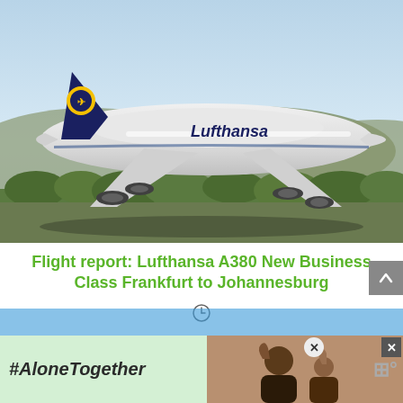[Figure (photo): Lufthansa A380 aircraft taking off or landing on a runway, with green trees and blue hills in the background. The white aircraft has the 'Lufthansa' name on its fuselage and the yellow crane logo on the tail.]
Flight report: Lufthansa A380 New Business Class Frankfurt to Johannesburg
[Figure (screenshot): A partial second article thumbnail visible at the bottom, partially covered by an advertisement banner. The ad banner shows '#AloneTogether' text on a light green background on the left, and a photo of two people (a man and child) waving on the right, with close buttons and a weather icon.]